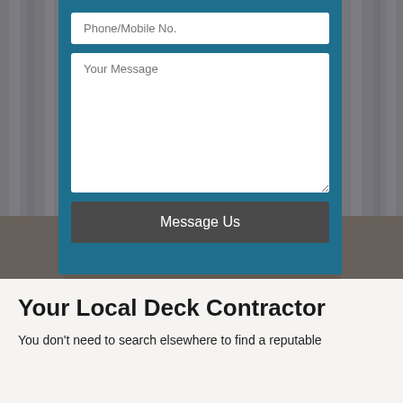[Figure (screenshot): Screenshot of a web contact form with teal background showing Phone/Mobile No. input field, Your Message textarea, and Message Us button, overlaid on a blurred dark background photo]
Your Local Deck Contractor
You don't need to search elsewhere to find a reputable